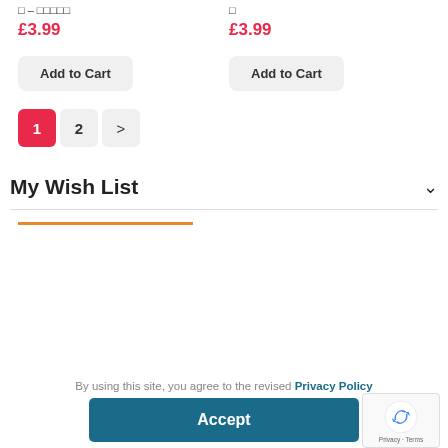□ – □□□□□
£3.99
□
£3.99
Add to Cart
Add to Cart
1 2 >
My Wish List
By using this site, you agree to the revised Privacy Policy
Accept